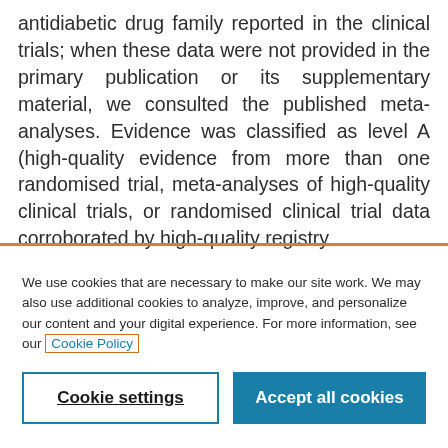antidiabetic drug family reported in the clinical trials; when these data were not provided in the primary publication or its supplementary material, we consulted the published meta-analyses. Evidence was classified as level A (high-quality evidence from more than one randomised trial, meta-analyses of high-quality clinical trials, or randomised clinical trial data corroborated by high-quality registry
We use cookies that are necessary to make our site work. We may also use additional cookies to analyze, improve, and personalize our content and your digital experience. For more information, see our Cookie Policy
Cookie settings
Accept all cookies